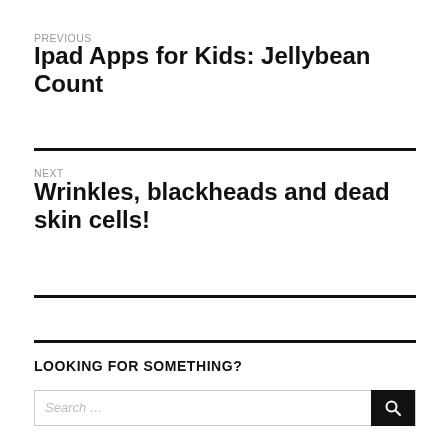PREVIOUS
Ipad Apps for Kids: Jellybean Count
NEXT
Wrinkles, blackheads and dead skin cells!
LOOKING FOR SOMETHING?